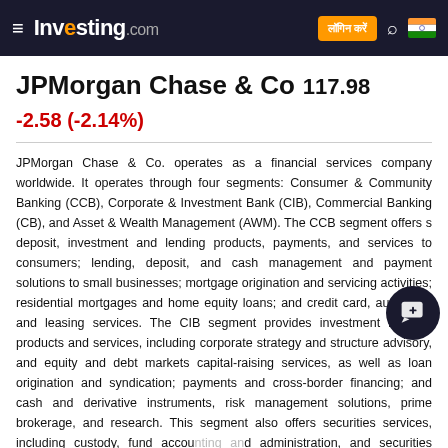Investing.com
JPMorgan Chase & Co 117.98 -2.58 (-2.14%)
JPMorgan Chase & Co. operates as a financial services company worldwide. It operates through four segments: Consumer & Community Banking (CCB), Corporate & Investment Bank (CIB), Commercial Banking (CB), and Asset & Wealth Management (AWM). The CCB segment offers s deposit, investment and lending products, payments, and services to consumers; lending, deposit, and cash management and payment solutions to small businesses; mortgage origination and servicing activities; residential mortgages and home equity loans; and credit card, auto loan, and leasing services. The CIB segment provides investment banking products and services, including corporate strategy and structure advisory, and equity and debt markets capital-raising services, as well as loan origination and syndication; payments and cross-border financing; and cash and derivative instruments, risk management solutions, prime brokerage, and research. This segment also offers securities services, including custody, fund accounting and administration, and securities lending products for asset managers, insurance companies, and public and private investment funds. The CB provides financial solutions, including lending, treasury services, investment banking, and asset management products.
JPM विवरण